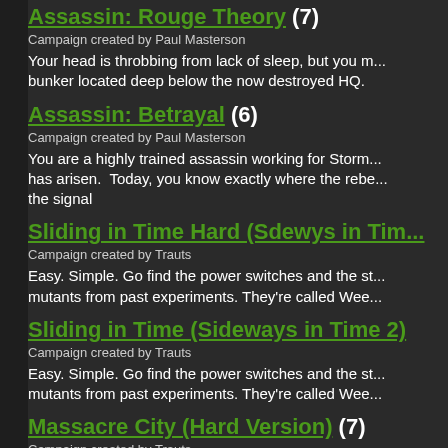Assassin: Rouge Theory (7)
Campaign created by Paul Masterson
Your head is throbbing from lack of sleep, but you m... bunker located deep below the now destroyed HQ.
Assassin: Betrayal (6)
Campaign created by Paul Masterson
You are a highly trained assassin working for Storm... has arisen.  Today, you know exactly where the rebe... the signal
Sliding in Time Hard (Sdewys in Tim...
Campaign created by Trauts
Easy. Simple. Go find the power switches and the st... mutants from past experiments. They're called Wee...
Sliding in Time (Sideways in Time 2)
Campaign created by Trauts
Easy. Simple. Go find the power switches and the st... mutants from past experiments. They're called Wee...
Massacre City (Hard Version) (7)
Campaign created by Trauts